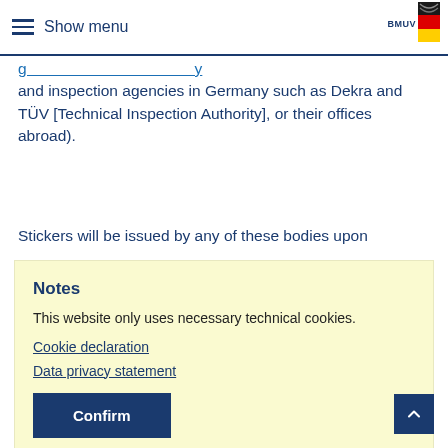Show menu
and inspection agencies in Germany such as Dekra and TÜV [Technical Inspection Authority], or their offices abroad).
Stickers will be issued by any of these bodies upon
Notes
This website only uses necessary technical cookies.
Cookie declaration
Data privacy statement
Confirm
(scanned document) or as copy by post. The sticker will be sent to you by post. The issuing bodies charge between and ten euros for one sticker. Costs for shipped stickers